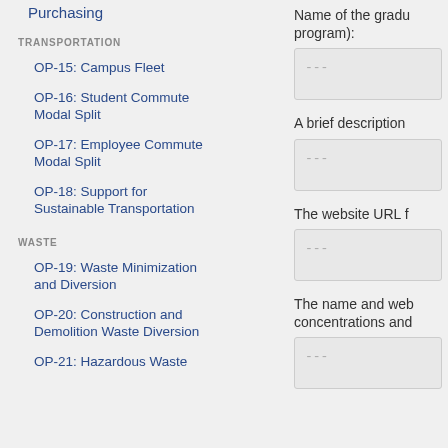Purchasing
TRANSPORTATION
OP-15: Campus Fleet
OP-16: Student Commute Modal Split
OP-17: Employee Commute Modal Split
OP-18: Support for Sustainable Transportation
WASTE
OP-19: Waste Minimization and Diversion
OP-20: Construction and Demolition Waste Diversion
OP-21: Hazardous Waste
Name of the graduate program):
---
A brief description
---
The website URL f
---
The name and web concentrations and
---